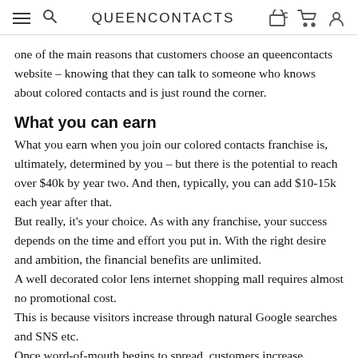QUEENCONTACTS
one of the main reasons that customers choose an queencontacts website – knowing that they can talk to someone who knows about colored contacts and is just round the corner.
What you can earn
What you earn when you join our colored contacts franchise is, ultimately, determined by you – but there is the potential to reach over $40k by year two. And then, typically, you can add $10-15k each year after that.
But really, it's your choice. As with any franchise, your success depends on the time and effort you put in. With the right desire and ambition, the financial benefits are unlimited.
A well decorated color lens internet shopping mall requires almost no promotional cost.
This is because visitors increase through natural Google searches and SNS etc.
Once word-of-mouth begins to spread, customers increase